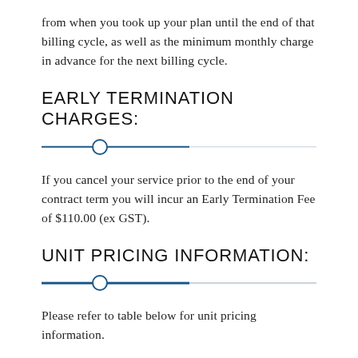from when you took up your plan until the end of that billing cycle, as well as the minimum monthly charge in advance for the next billing cycle.
EARLY TERMINATION CHARGES:
If you cancel your service prior to the end of your contract term you will incur an Early Termination Fee of $110.00 (ex GST).
UNIT PRICING INFORMATION:
Please refer to table below for unit pricing information.